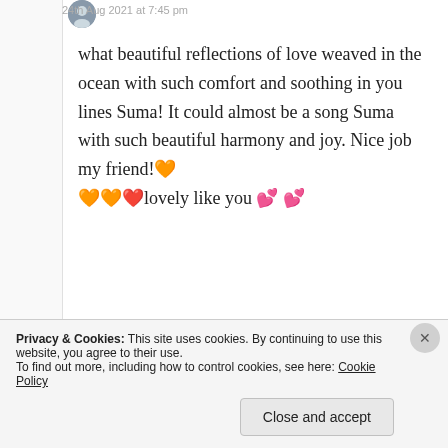24th Aug 2021 at 7:45 pm
what beautiful reflections of love weaved in the ocean with such comfort and soothing in you lines Suma! It could almost be a song Suma with such beautiful harmony and joy. Nice job my friend! 🧡🧡❤️lovely like you 💕 💕
★ Liked by 3 people
Log in to Reply
Privacy & Cookies: This site uses cookies. By continuing to use this website, you agree to their use.
To find out more, including how to control cookies, see here: Cookie Policy
Close and accept